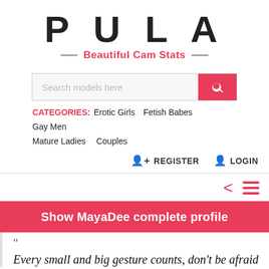PULA
Beautiful Cam Stats
[Figure (screenshot): Search bar with placeholder text 'Search models here' and a red search button]
CATEGORIES: Erotic Girls  Fetish Babes  Gay Men  Mature Ladies  Couples
REGISTER  LOGIN
Show MayaDee complete profile
"
Every small and big gesture counts, don't be afraid